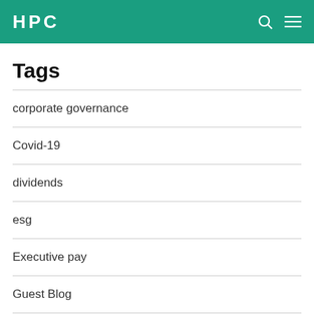HPC
Tags
corporate governance
Covid-19
dividends
esg
Executive pay
Guest Blog
HPC at 10
inequality